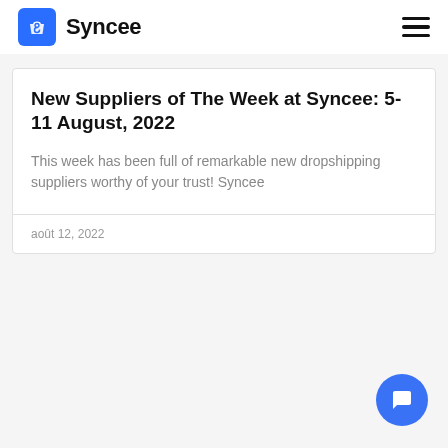Syncee
New Suppliers of The Week at Syncee: 5-11 August, 2022
This week has been full of remarkable new dropshipping suppliers worthy of your trust! Syncee
août 12, 2022